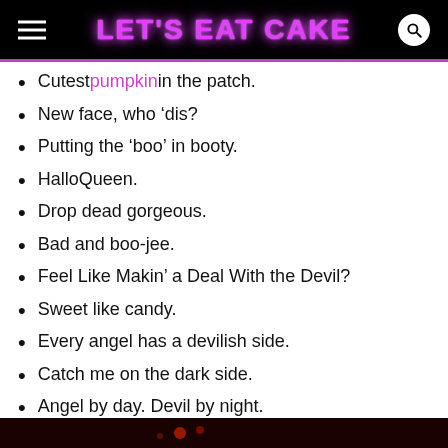LET'S EAT CAKE
Cutest pumpkin in the patch.
New face, who ‘dis?
Putting the ‘boo’ in booty.
HalloQueen.
Drop dead gorgeous.
Bad and boo-jee.
Feel Like Makin’ a Deal With the Devil?
Sweet like candy.
Every angel has a devilish side.
Catch me on the dark side.
Angel by day. Devil by night.
[Figure (photo): Dark Halloween-themed image at bottom of page]